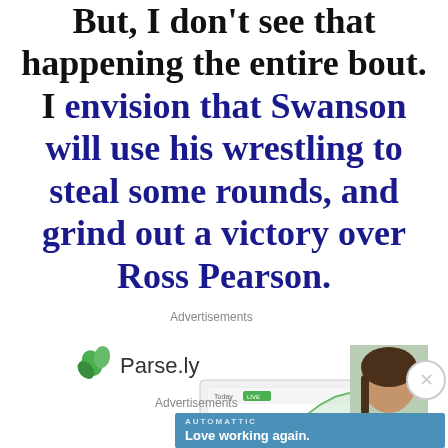But, I don't see that happening the entire bout. I envision that Swanson will use his wrestling to steal some rounds, and grind out a victory over Ross Pearson.
Advertisements
[Figure (screenshot): Parse.ly advertisement with logo and product screenshot showing analytics dashboard with a person in background]
Advertisements
[Figure (screenshot): Automattic advertisement with blue background showing 'AUTOMATTIC' brand text and 'Love working again.' tagline]